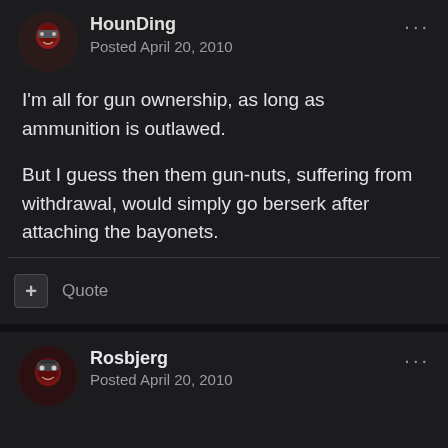HounDing
Posted April 20, 2010
I'm all for gun ownership, as long as ammunition is outlawed.
But I guess then them gun-nuts, suffering from withdrawal, would simply go berserk after attaching the bayonets.
+ Quote
Rosbjerg
Posted April 20, 2010